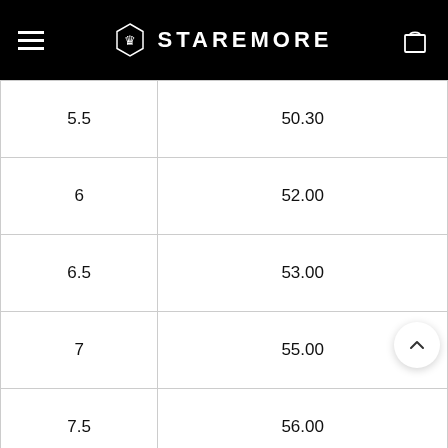STAREMORE
| 5.5 | 50.30 |
| 6 | 52.00 |
| 6.5 | 53.00 |
| 7 | 55.00 |
| 7.5 | 56.00 |